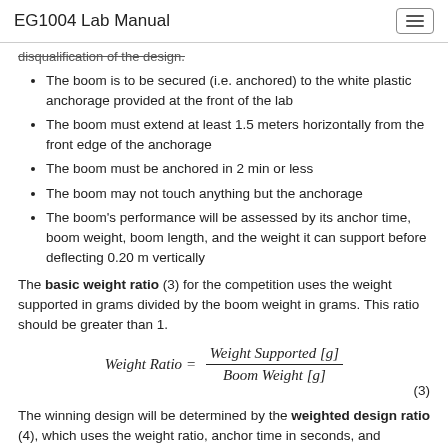EG1004 Lab Manual
disqualification of the design.
The boom is to be secured (i.e. anchored) to the white plastic anchorage provided at the front of the lab
The boom must extend at least 1.5 meters horizontally from the front edge of the anchorage
The boom must be anchored in 2 min or less
The boom may not touch anything but the anchorage
The boom's performance will be assessed by its anchor time, boom weight, boom length, and the weight it can support before deflecting 0.20 m vertically
The basic weight ratio (3) for the competition uses the weight supported in grams divided by the boom weight in grams. This ratio should be greater than 1.
The winning design will be determined by the weighted design ratio (4), which uses the weight ratio, anchor time in seconds, and boom length in meters.